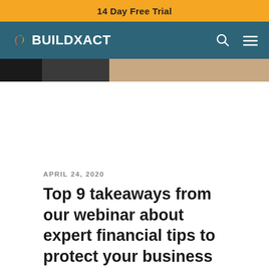14 Day Free Trial
[Figure (logo): Buildxact logo on teal navigation bar with search and menu icons]
[Figure (photo): Partial hero image showing dark and skin-tone portions at top of article]
APRIL 24, 2020
Top 9 takeaways from our webinar about expert financial tips to protect your business